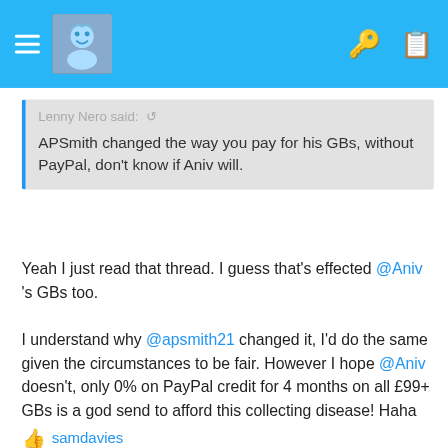[Figure (screenshot): Mobile app top navigation bar with blue background, hamburger menu, avatar icon, key icon and clipboard icon]
Lenny Nero said: ↺
APSmith changed the way you pay for his GBs, without PayPal, don't know if Aniv will.
Yeah I just read that thread. I guess that's effected @Aniv 's GBs too.

I understand why @apsmith21 changed it, I'd do the same given the circumstances to be fair. However I hope @Aniv doesn't, only 0% on PayPal credit for 4 months on all £99+ GBs is a god send to afford this collecting disease! Haha
👍 samdavies
↩ Reply
Jocelin